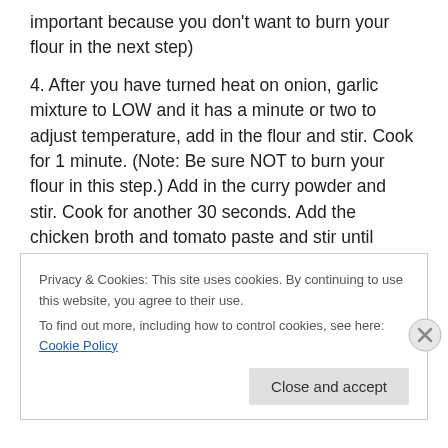important because you don't want to burn your flour in the next step)
4. After you have turned heat on onion, garlic mixture to LOW and it has a minute or two to adjust temperature, add in the flour and stir. Cook for 1 minute. (Note: Be sure NOT to burn your flour in this step.) Add in the curry powder and stir. Cook for another 30 seconds. Add the chicken broth and tomato paste and stir until combined. Cook on low until sauce reduces and thickens; about 15 minutes.
Privacy & Cookies: This site uses cookies. By continuing to use this website, you agree to their use.
To find out more, including how to control cookies, see here: Cookie Policy
Close and accept